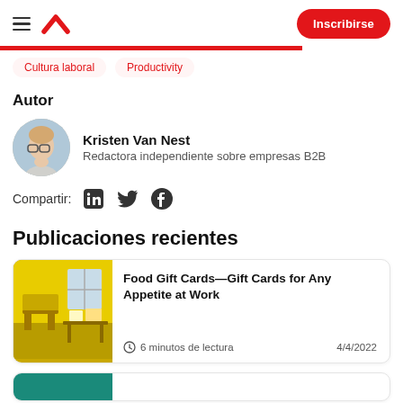DoorDash — Inscribirse
Cultura laboral
Productivity
Autor
Kristen Van Nest — Redactora independiente sobre empresas B2B
Compartir: LinkedIn Twitter Facebook
Publicaciones recientes
Food Gift Cards—Gift Cards for Any Appetite at Work
6 minutos de lectura  4/4/2022